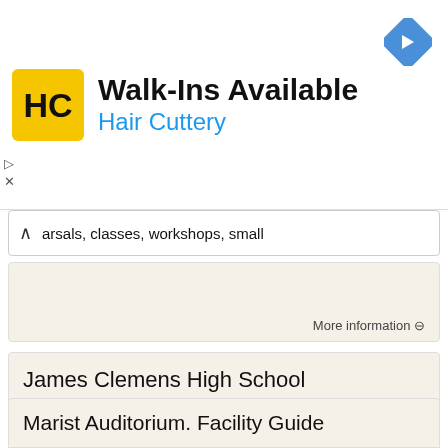[Figure (logo): Hair Cuttery advertisement banner with yellow HC logo, 'Walk-Ins Available' headline, 'Hair Cuttery' in blue, and a blue navigation diamond icon]
arsals, classes, workshops, small
More information →
James Clemens High School
James Clemens High School 11306 County Line Road Madison, AL 35756 Amy Pugh Patel appatel@madisoncity.k12.al.us M. Clinton Merrritt mcmerritt@madisoncity.k12.al.us Auditorium Usage Agreement Organization
More information →
Marist Auditorium. Facility Guide